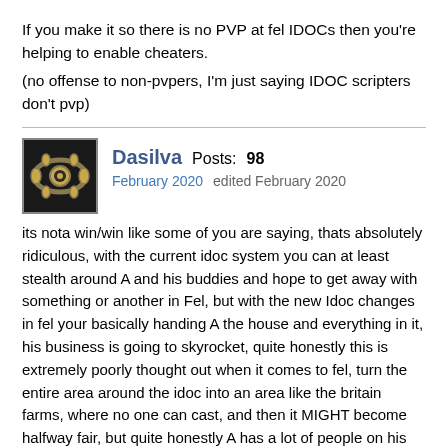If you make it so there is no PVP at fel IDOCs then you're helping to enable cheaters.
(no offense to non-pvpers, I'm just saying IDOC scripters don't pvp)
Dasilva  Posts: 98
February 2020    edited February 2020
its nota win/win like some of you are saying, thats absolutely ridiculous, with the current idoc system you can at least stealth around A and his buddies and hope to get away with something or another in Fel, but with the new Idoc changes in fel your basically handing A the house and everything in it, his business is going to skyrocket, quite honestly this is extremely poorly thought out when it comes to fel, turn the entire area around the idoc into an area like the britain farms, where no one can cast, and then it MIGHT become halfway fair, but quite honestly A has a lot of people on his payroll, way more than any other so called scripter/idoccer, the only thing you are doing is handing him the keys to the bank. any of you who think otherwise are silly, and you will see that if this goes through for fel I will be saying I told you so. CHANGE the rule in fel NO MAGERY,NO nothing except a fist fight, if you want to make it